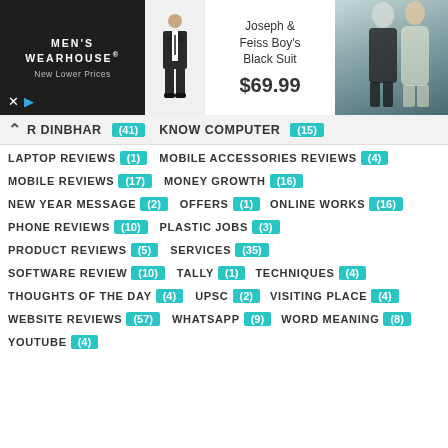[Figure (photo): Men's Wearhouse advertisement banner featuring a boy's black suit for $69.99 and a couple in formal wear]
R DINBHAR (41)
KNOW COMPUTER (15)
LAPTOP REVIEWS (1)
MOBILE ACCESSORIES REVIEWS (4)
MOBILE REVIEWS (17)
MONEY GROWTH (16)
NEW YEAR MESSAGE (2)
OFFERS (1)
ONLINE WORKS (16)
PHONE REVIEWS (10)
PLASTIC JOBS (3)
PRODUCT REVIEWS (5)
SERVICES (35)
SOFTWARE REVIEW (10)
TALLY (1)
TECHNIQUES (4)
THOUGHTS OF THE DAY (4)
UPSC (2)
VISITING PLACE (4)
WEBSITE REVIEWS (57)
WHATSAPP (9)
WORD MEANING (8)
YOUTUBE (4)